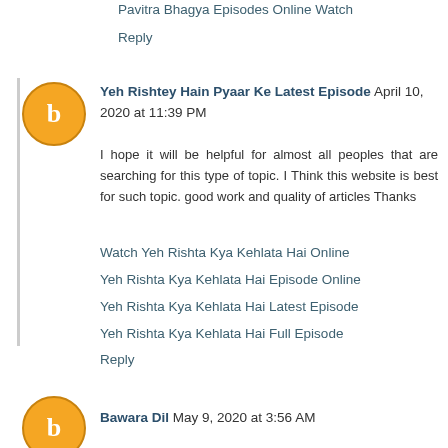Pavitra Bhagya Episodes Online Watch
Reply
Yeh Rishtey Hain Pyaar Ke Latest Episode April 10, 2020 at 11:39 PM
I hope it will be helpful for almost all peoples that are searching for this type of topic. I Think this website is best for such topic. good work and quality of articles Thanks
Watch Yeh Rishta Kya Kehlata Hai Online
Yeh Rishta Kya Kehlata Hai Episode Online
Yeh Rishta Kya Kehlata Hai Latest Episode
Yeh Rishta Kya Kehlata Hai Full Episode
Reply
Bawara Dil May 9, 2020 at 3:56 AM